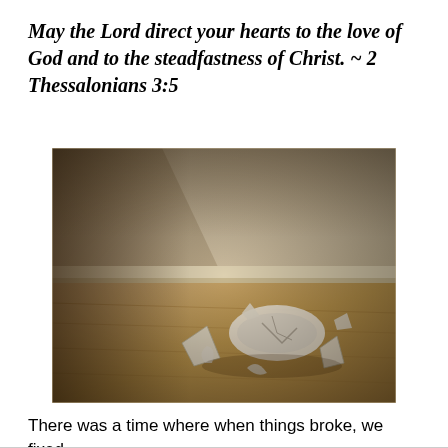May the Lord direct your hearts to the love of God and to the steadfastness of Christ. ~ 2 Thessalonians 3:5
[Figure (photo): A sepia-toned photograph of a broken ceramic bowl or cup shattered on a wooden floor, with pieces scattered around, set against a wall corner in the background.]
There was a time where when things broke, we fixed